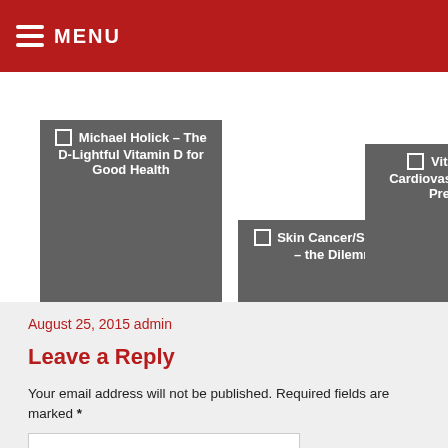MENU
[Figure (other): Navigation card: Michael Holick – The D-Lightful Vitamin D for Good Health]
[Figure (other): Navigation card: Skin Cancer/Sunscreen – the Dilemma]
[Figure (other): Navigation card: Vitamin D and Cardiovascular Disease Prevention]
August 25, 2015 admin
Leave a Reply
Your email address will not be published. Required fields are marked *